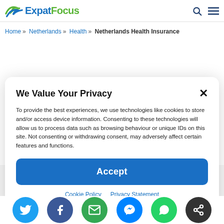ExpatFocus
Home » Netherlands » Health » Netherlands Health Insurance
We Value Your Privacy
To provide the best experiences, we use technologies like cookies to store and/or access device information. Consenting to these technologies will allow us to process data such as browsing behaviour or unique IDs on this site. Not consenting or withdrawing consent, may adversely affect certain features and functions.
Accept
Cookie Policy  Privacy Statement
[Figure (illustration): Partial illustration of cartoon construction workers with hard hats in yellow and orange]
[Figure (infographic): Social sharing buttons: Twitter (cyan), Facebook (dark blue), Email (green), Messenger (blue), WhatsApp (green), Share (dark/black)]